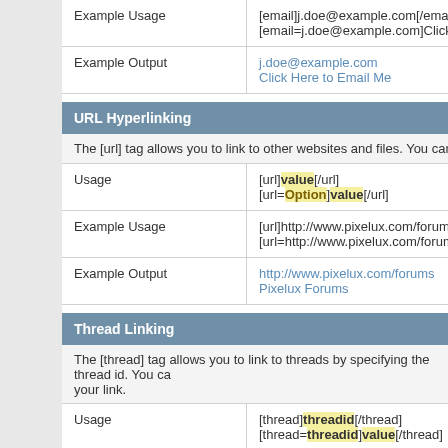| Example Usage | [email]j.doe@example.com[/email]
[email=j.doe@example.com]Click Here t |
| Example Output | j.doe@example.com
Click Here to Email Me |
URL Hyperlinking
The [url] tag allows you to link to other websites and files. You can include an o
| Usage | [url]value[/url]
[url=Option]value[/url] |
| Example Usage | [url]http://www.pixelux.com/forums[/url]
[url=http://www.pixelux.com/forums]Pixel |
| Example Output | http://www.pixelux.com/forums
Pixelux Forums |
Thread Linking
The [thread] tag allows you to link to threads by specifying the thread id. You ca your link.
| Usage | [thread]threadid[/thread]
[thread=threadid]value[/thread] |
| Example Usage | [thread]42918[/thread]
[thread=42918]Click Me![/thread]
(Note: The threadid/postid is just an exa thread/post.) |